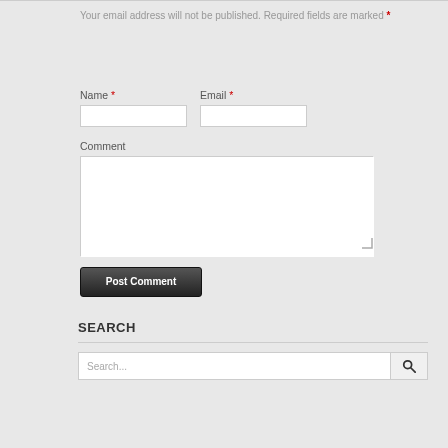Your email address will not be published. Required fields are marked *
Name *
Email *
Comment
Post Comment
SEARCH
Search...